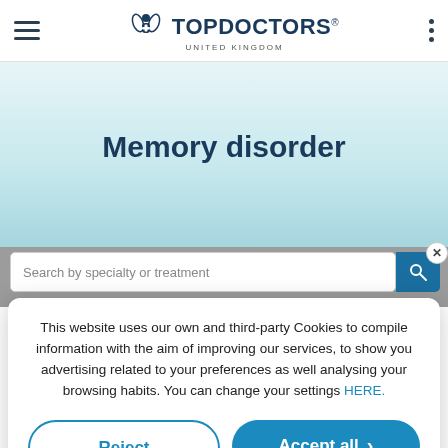Top Doctors United Kingdom — navigation bar
Memory disorder
Search by specialty or treatment
This website uses our own and third-party Cookies to compile information with the aim of improving our services, to show you advertising related to your preferences as well analysing your browsing habits. You can change your settings HERE.
Reject | Accept all
Custom configuration | Cookies Policy | Privacy Policy
unusual forgetting. It is a common disorder as